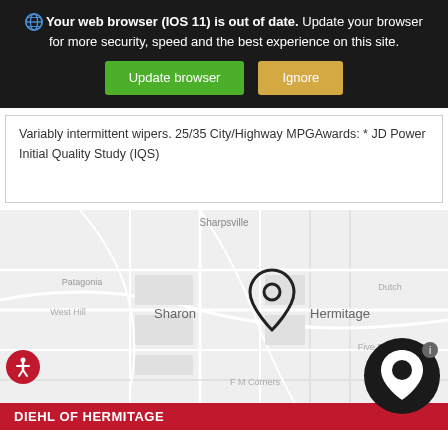Your web browser (IOS 11) is out of date. Update your browser for more security, speed and the best experience on this site. [Update browser] [Ignore]
Variably intermittent wipers. 25/35 City/Highway MPGAwards: * JD Power Initial Quality Study (IQS)
[Figure (map): Street map showing Sharon, Hermitage area with location pin marker. Area labels include Sharpsville, Patagonia, West Hill, Sharon, Hermitage, Dutch, Five Points, F M Corners, Hann Hill, Neshar. Mapbox attribution shown.]
DIEHL OF HERMITAGE